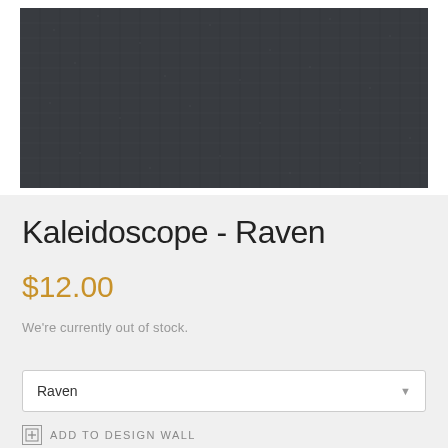[Figure (photo): Close-up photograph of dark charcoal/raven colored woven fabric texture]
Kaleidoscope - Raven
$12.00
We're currently out of stock.
Raven
ADD TO DESIGN WALL